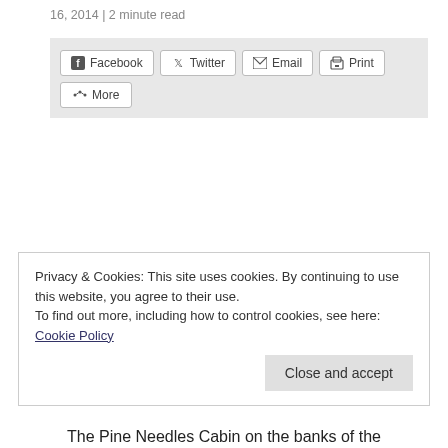16, 2014 | 2 minute read
[Figure (screenshot): Social share buttons: Facebook, Twitter, Email, Print, More on a light grey background]
Privacy & Cookies: This site uses cookies. By continuing to use this website, you agree to their use.
To find out more, including how to control cookies, see here: Cookie Policy
Close and accept
The Pine Needles Cabin on the banks of the